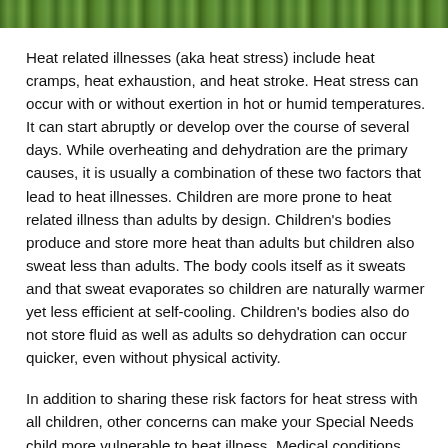[Figure (photo): Top strip showing green foliage/grass background, partial view of a photo]
Heat related illnesses (aka heat stress) include heat cramps, heat exhaustion, and heat stroke. Heat stress can occur with or without exertion in hot or humid temperatures. It can start abruptly or develop over the course of several days. While overheating and dehydration are the primary causes, it is usually a combination of these two factors that lead to heat illnesses. Children are more prone to heat related illness than adults by design. Children's bodies produce and store more heat than adults but children also sweat less than adults. The body cools itself as it sweats and that sweat evaporates so children are naturally warmer yet less efficient at self-cooling. Children's bodies also do not store fluid as well as adults so dehydration can occur quicker, even without physical activity.
In addition to sharing these risk factors for heat stress with all children, other concerns can make your Special Needs child more vulnerable to heat illness. Medical conditions and medications can interfere with the body's ability to cool itself or